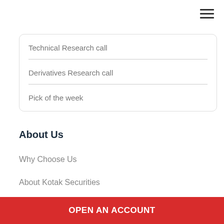[Figure (other): Hamburger menu icon (three horizontal lines) in top-right corner]
Technical Research call
Derivatives Research call
Pick of the week
About Us
Why Choose Us
About Kotak Securities
About Kotak Group
OPEN AN ACCOUNT